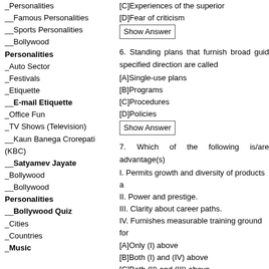_Personalities
__Famous Personalities
__Sports Personalities
__Bollywood Personalities
_Auto Sector
_Festivals
_Etiquette
__E-mail Etiquette
_Office Fun
_TV Shows (Television)
__Kaun Banega Crorepati (KBC)
__Satyamev Jayate
_Bollywood
__Bollywood Personalities
__Bollywood Quiz
_Cities
_Countries
_Music
[C]Experiences of the superior
[D]Fear of criticism
Show Answer
6. Standing plans that furnish broad guid specified direction are called
[A]Single-use plans
[B]Programs
[C]Procedures
[D]Policies
Show Answer
7. Which of the following is/are advantage(s)
I. Permits growth and diversity of products a
II. Power and prestige.
III. Clarity about career paths.
IV. Furnishes measurable training ground for
[A]Only (I) above
[B]Both (I) and (IV) above
[C]Both (II) and (III) above
[D](I), (II) and (III) above
Show Answer